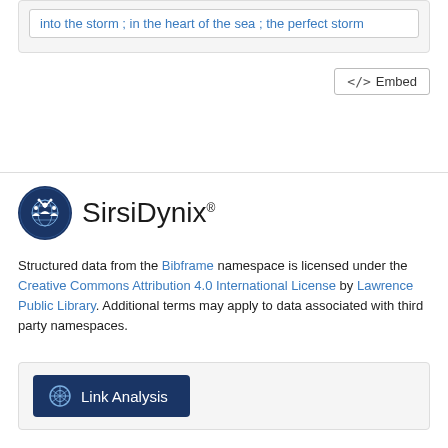into the storm ; in the heart of the sea ; the perfect storm
<> Embed
[Figure (logo): SirsiDynix logo with circular blue emblem showing figures and a globe, and the text SirsiDynix]
Structured data from the Bibframe namespace is licensed under the Creative Commons Attribution 4.0 International License by Lawrence Public Library. Additional terms may apply to data associated with third party namespaces.
Link Analysis